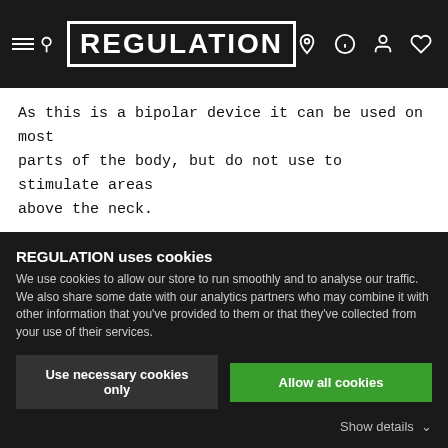REGULATION
As this is a bipolar device it can be used on most parts of the body, but do not use to stimulate areas above the neck.
Connection Required: 4mm Banana Cables
[Code: P-2700]
Similar Collections
E-Stim Systems, Electro Sex, Electrodes,
REGULATION uses cookies
We use cookies to allow our store to run smoothly and to analyse our traffic. We also share some date with our analytics partners who may combine it with other information that you've provided to them or that they've collected from your use of their services.
Use necessary cookies only | Allow all cookies | Show details